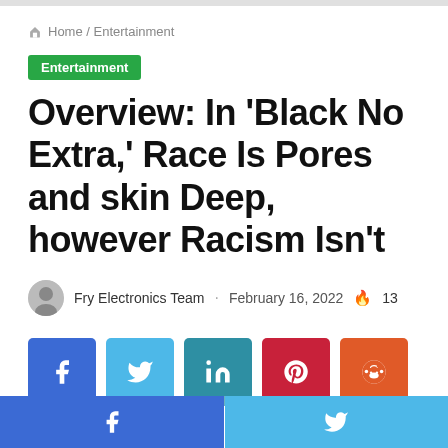Home / Entertainment
Entertainment
Overview: In 'Black No Extra,' Race Is Pores and skin Deep, however Racism Isn't
Fry Electronics Team · February 16, 2022 🔥 13